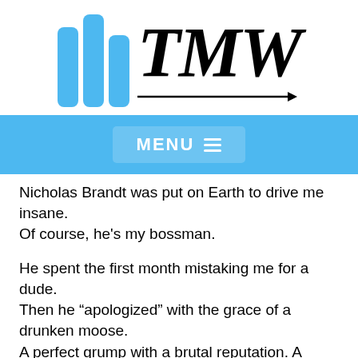[Figure (logo): TMW logo with three blue rounded bars and large italic TMW text with an arrow underneath]
MENU ≡
Nicholas Brandt was put on Earth to drive me insane. Of course, he's my bossman.
He spent the first month mistaking me for a dude. Then he “apologized” with the grace of a drunken moose. A perfect grump with a brutal reputation. A heart-thief sculpted like a fallen angel.
A master at making me question all of my life decisions.
Told from alternating points of view. Good as Dead draws